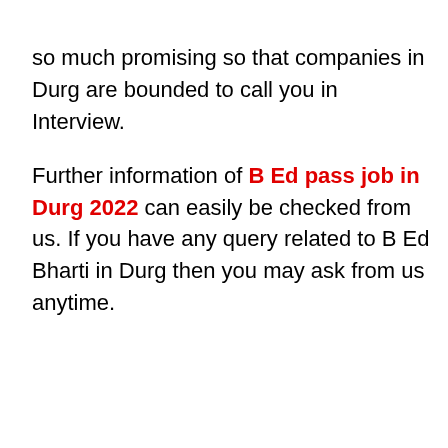so much promising so that companies in Durg are bounded to call you in Interview. Further information of B Ed pass job in Durg 2022 can easily be checked from us. If you have any query related to B Ed Bharti in Durg then you may ask from us anytime.
Job for B Ed Pass in Durg 2022